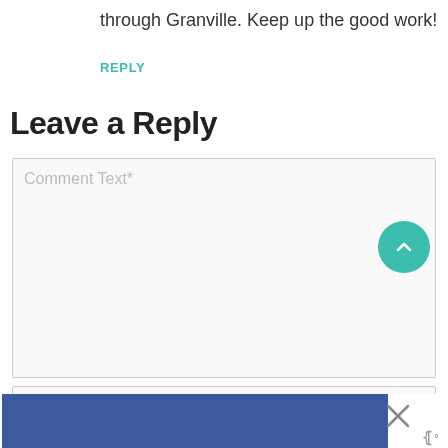through Granville. Keep up the good work!
REPLY
Leave a Reply
[Figure (screenshot): Comment text input box with placeholder text 'Comment Text*']
[Figure (screenshot): Scroll-to-top button (teal circle with upward chevron arrow)]
[Figure (screenshot): Name input box with placeholder text 'Name*']
[Figure (screenshot): Advertisement bar at bottom with blue background and close/logo icons]